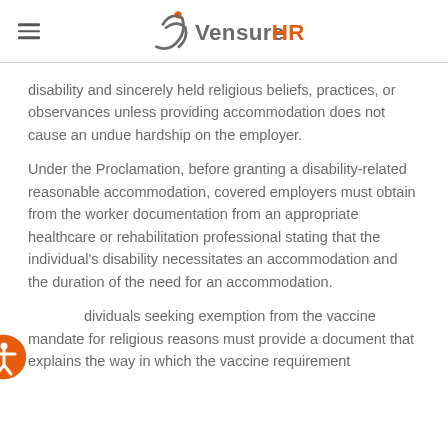VensureHR
disability and sincerely held religious beliefs, practices, or observances unless providing accommodation does not cause an undue hardship on the employer.
Under the Proclamation, before granting a disability-related reasonable accommodation, covered employers must obtain from the worker documentation from an appropriate healthcare or rehabilitation professional stating that the individual's disability necessitates an accommodation and the duration of the need for an accommodation.
Individuals seeking exemption from the vaccine mandate for religious reasons must provide a document that explains the way in which the vaccine requirement